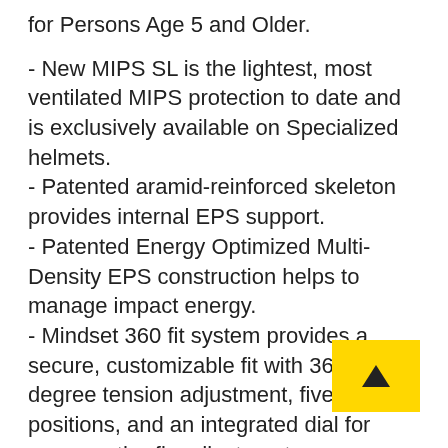for Persons Age 5 and Older.
- New MIPS SL is the lightest, most ventilated MIPS protection to date and is exclusively available on Specialized helmets.
- Patented aramid-reinforced skeleton provides internal EPS support.
- Patented Energy Optimized Multi-Density EPS construction helps to manage impact energy.
- Mindset 360 fit system provides a secure, customizable fit with 360-degree tension adjustment, five height positions, and an integrated dial for easy, on-the-fly adjustments.
- Micro indexing visor allows for a wide range of fast, secure on-trail adjustments, as well as convenient goggle stowage.
- 4th Dimension Cooling System with massive vents, internal Cross-Channels, and aligned exhaust ports increases airflow to keep you cool.
- Low profile in-molded shell with smooth, snag-free exterior shape.
- Extended coverage for added protection and durability.